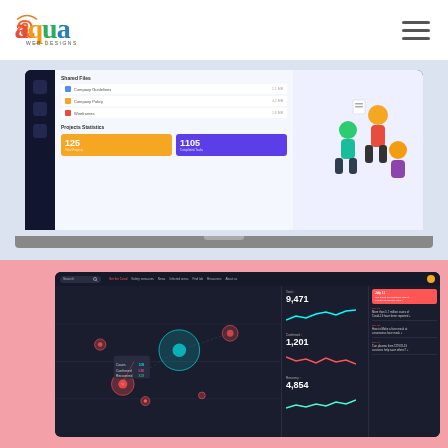[Figure (logo): Aqua Web Designs logo - colorful multicolored text logo]
[Figure (screenshot): MacBook Pro showing a file management dashboard with Shared Files section listing Company Guidelines, Company Policy, and Wireframes, plus a Projects Statistics section with stat cards showing 125 and 1105, and an illustration of people collaborating]
[Figure (screenshot): Dark-themed COVID-19 dashboard showing Affected Areas map with bubble markers, stats panel with Total: 9,471, Confirmed: 1,201, Recovery: 4,854, news panel with alerts, and floating contact icons (phone, WhatsApp, chat)]